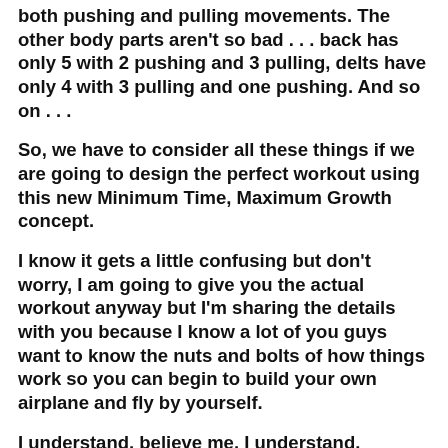both pushing and pulling movements. The other body parts aren't so bad . . . back has only 5 with 2 pushing and 3 pulling, delts have only 4 with 3 pulling and one pushing. And so on . . .
So, we have to consider all these things if we are going to design the perfect workout using this new Minimum Time, Maximum Growth concept.
I know it gets a little confusing but don't worry, I am going to give you the actual workout anyway but I'm sharing the details with you because I know a lot of you guys want to know the nuts and bolts of how things work so you can begin to build your own airplane and fly by yourself.
I understand, believe me, I understand.
Now, how do we select which exercises should go with each day? That, my friend, comes with experience. I'd like to give you a...